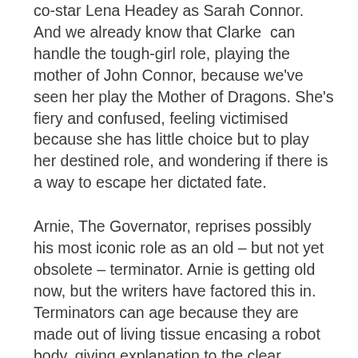co-star Lena Headey as Sarah Connor. And we already know that Clarke can handle the tough-girl role, playing the mother of John Connor, because we've seen her play the Mother of Dragons. She's fiery and confused, feeling victimised because she has little choice but to play her destined role, and wondering if there is a way to escape her dictated fate.
Arnie, The Governator, reprises possibly his most iconic role as an old – but not yet obsolete – terminator. Arnie is getting old now, but the writers have factored this in. Terminators can age because they are made out of living tissue encasing a robot body, giving explanation to the clear wrinkles and grey hair. His robotic nature and inability to empathise with the humans often provides comic relief, but he's still the same gun-toting